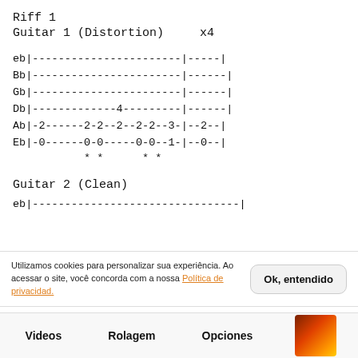Riff 1
Guitar 1 (Distortion)    x4
eb|-------------------------|-----|
Bb|-------------------------|------|
Gb|-------------------------|------|
Db|--------------4----------|------|
Ab|-2------2-2--2--2-2--3-|--2--|
Eb|-0------0-0-----0-0--1-|--0--|
* *      * *
Guitar 2 (Clean)
eb|--------------------------------|
Ab |-------------------------------|
Videos   Rolagem   Opciones